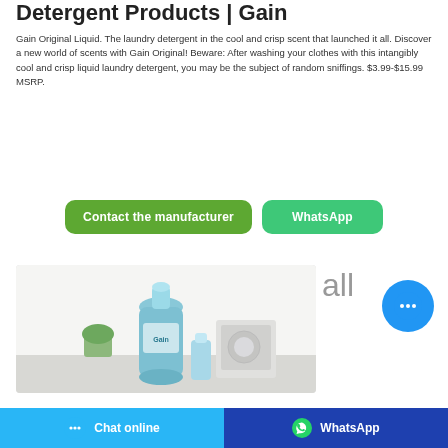Detergent Products | Gain
Gain Original Liquid. The laundry detergent in the cool and crisp scent that launched it all. Discover a new world of scents with Gain Original! Beware: After washing your clothes with this intangibly cool and crisp liquid laundry detergent, you may be the subject of random sniffings. $3.99-$15.99 MSRP.
[Figure (other): Contact the manufacturer button (green rounded rectangle) and WhatsApp button (green rounded rectangle)]
[Figure (photo): Photo of a large blue Gain laundry detergent jug on a surface near a washing machine]
all
[Figure (other): Blue circular chat bubble button with ellipsis icon]
Chat online | WhatsApp